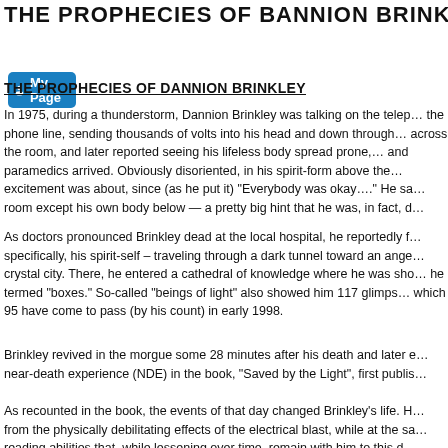THE PROPHECIES OF DANNION BRINKLE...
[Figure (other): My Page button with user icon in blue]
THE PROPHECIES OF DANNION BRINKLEY
In 1975, during a thunderstorm, Dannion Brinkley was talking on the telephone when lightning struck the phone line, sending thousands of volts into his head and down through his body, blasting him across the room, and later reported seeing his lifeless body spread prone, waiting while his wife and paramedics arrived. Obviously disoriented, in his spirit-form above the body, he couldn't understand what the excitement was about, since (as he put it) "Everybody was okay…." He saw every living person in the room except his own body below — a pretty big hint that he was, in fact, dead.
As doctors pronounced Brinkley dead at the local hospital, he reportedly found himself — more specifically, his spirit-self – traveling through a dark tunnel toward an angelic being and into a crystal city. There, he entered a cathedral of knowledge where he was shown future events in what he termed "boxes." So-called "beings of light" also showed him 117 glimpses of future events, of which 95 have come to pass (by his count) in early 1998.
Brinkley revived in the morgue some 28 minutes after his death and later described his near-death experience (NDE) in the book, "Saved by the Light", first publis...
As recounted in the book, the events of that day changed Brinkley's life. H... from the physically debilitating effects of the electrical blast, while at the sa... reading abilities that, while lessening over time, remain with him to this d...